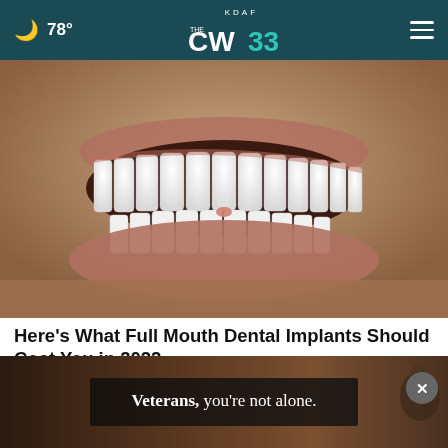🌙 78° | KDAF CW 33
[Figure (photo): Close-up photo of a man's smile showing full upper and lower teeth — white dental implants/veneers visible, beard and lips surrounding the mouth]
Here's What Full Mouth Dental Implants Should Cost You in 2022
Dental Implants | Search Ads
[Figure (photo): Advertisement banner: dark/warm background with a person shown, overlaid with white text reading 'Veterans, you're not alone.']